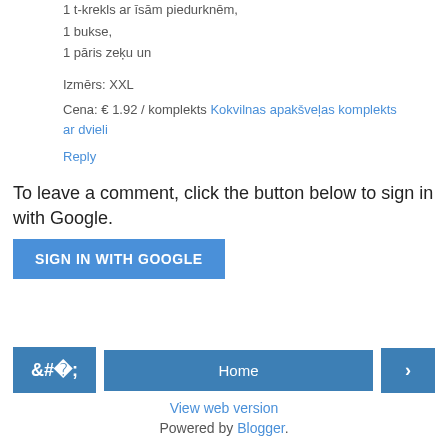1 t-krekls ar īsām piedurknēm,
1 bukse,
1 pāris zeķu un
Izmērs: XXL
Cena: € 1.92 / komplekts Kokvilnas apakšveļas komplekts ar dvieli
Reply
To leave a comment, click the button below to sign in with Google.
SIGN IN WITH GOOGLE
Home
View web version
Powered by Blogger.